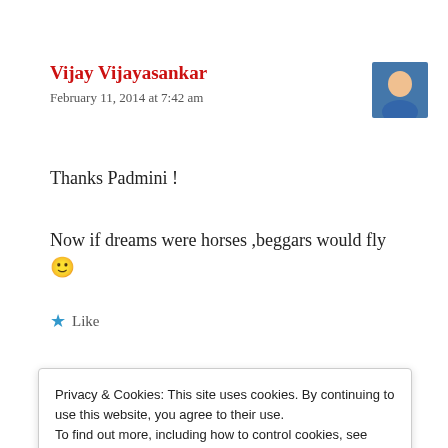Vijay Vijayasankar
February 11, 2014 at 7:42 am
[Figure (photo): Avatar photo of a person in a blue shirt]
Thanks Padmini !
Now if dreams were horses ,beggars would fly 🙂
★ Like
Privacy & Cookies: This site uses cookies. By continuing to use this website, you agree to their use. To find out more, including how to control cookies, see here:
Cookie Policy
Close and accept